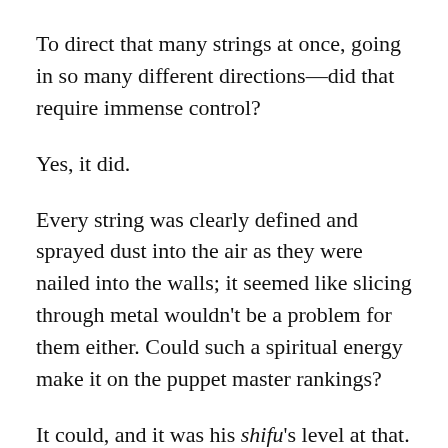To direct that many strings at once, going in so many different directions—did that require immense control?
Yes, it did.
Every string was clearly defined and sprayed dust into the air as they were nailed into the walls; it seemed like slicing through metal wouldn't be a problem for them either. Could such a spiritual energy make it on the puppet master rankings?
It could, and it was his shifu's level at that.
Who was the person who accomplished all this?